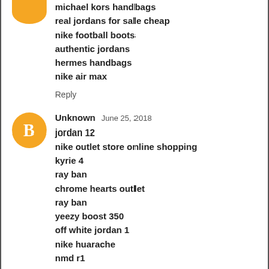michael kors handbags
real jordans for sale cheap
nike football boots
authentic jordans
hermes handbags
nike air max
Reply
Unknown  June 25, 2018
jordan 12
nike outlet store online shopping
kyrie 4
ray ban
chrome hearts outlet
ray ban
yeezy boost 350
off white jordan 1
nike huarache
nmd r1
Reply
qqqqqqqqqqqqq  July 10, 2018